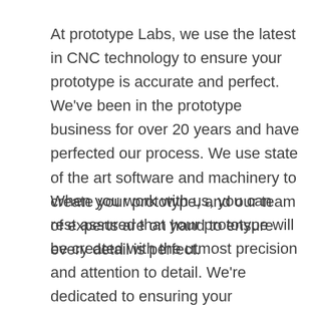At prototype Labs, we use the latest in CNC technology to ensure your prototype is accurate and perfect. We've been in the prototype business for over 20 years and have perfected our process. We use state of the art software and machinery to create your prototype, and our team of experts are on hand to ensure every detail is perfect.
When you work with us, you can rest assured that your prototype will be created with the utmost precision and attention to detail. We're dedicated to ensuring your satisfaction and will work with you every step of the way to ensure your prototype is exactly what you need. Contact us today to get started on your